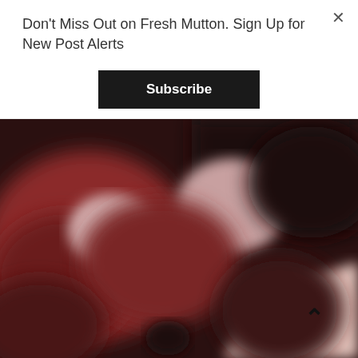Don't Miss Out on Fresh Mutton. Sign Up for New Post Alerts
Subscribe
[Figure (photo): Blurred close-up photograph showing reddish-brown tones with blurred shapes, likely raw mutton/meat in the background, with a pale pinkish diagonal element in the lower right]
^